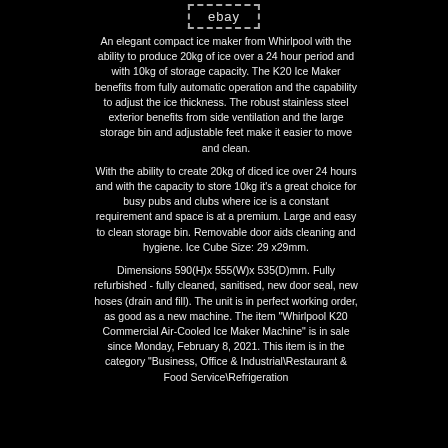ebay
An elegant compact ice maker from Whirlpool with the ability to produce 20kg of ice over a 24 hour period and with 10kg of storage capacity. The K20 Ice Maker benefits from fully automatic operation and the capability to adjust the ice thickness. The robust stainless steel exterior benefits from side ventilation and the large storage bin and adjustable feet make it easier to move and clean.
With the ability to create 20kg of diced ice over 24 hours and with the capacity to store 10kg it's a great choice for busy pubs and clubs where ice is a constant requirement and space is at a premium. Large and easy to clean storage bin. Removable door aids cleaning and hygiene. Ice Cube Size: 29 x29mm.
Dimensions 590(H)x 555(W)x 535(D)mm. Fully refurbished - fully cleaned, sanitised, new door seal, new hoses (drain and fill). The unit is in perfect working order, as good as a new machine. The item "Whirlpool K20 Commercial Air-Cooled Ice Maker Machine" is in sale since Monday, February 8, 2021. This item is in the category "Business, Office & Industrial\Restaurant & Food Service\Refrigeration